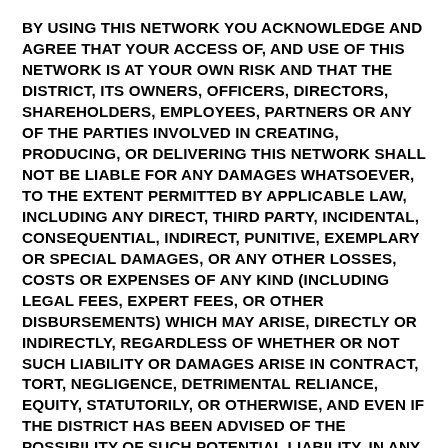BY USING THIS NETWORK YOU ACKNOWLEDGE AND AGREE THAT YOUR ACCESS OF, AND USE OF THIS NETWORK IS AT YOUR OWN RISK AND THAT THE DISTRICT, ITS OWNERS, OFFICERS, DIRECTORS, SHAREHOLDERS, EMPLOYEES, PARTNERS OR ANY OF THE PARTIES INVOLVED IN CREATING, PRODUCING, OR DELIVERING THIS NETWORK SHALL NOT BE LIABLE FOR ANY DAMAGES WHATSOEVER, TO THE EXTENT PERMITTED BY APPLICABLE LAW, INCLUDING ANY DIRECT, THIRD PARTY, INCIDENTAL, CONSEQUENTIAL, INDIRECT, PUNITIVE, EXEMPLARY OR SPECIAL DAMAGES, OR ANY OTHER LOSSES, COSTS OR EXPENSES OF ANY KIND (INCLUDING LEGAL FEES, EXPERT FEES, OR OTHER DISBURSEMENTS) WHICH MAY ARISE, DIRECTLY OR INDIRECTLY, REGARDLESS OF WHETHER OR NOT SUCH LIABILITY OR DAMAGES ARISE IN CONTRACT, TORT, NEGLIGENCE, DETRIMENTAL RELIANCE, EQUITY, STATUTORILY, OR OTHERWISE, AND EVEN IF THE DISTRICT HAS BEEN ADVISED OF THE POSSIBILITY OF SUCH POTENTIAL LIABILITY. IN ANY CONNECTION WITH